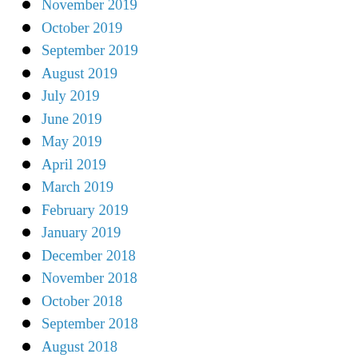November 2019
October 2019
September 2019
August 2019
July 2019
June 2019
May 2019
April 2019
March 2019
February 2019
January 2019
December 2018
November 2018
October 2018
September 2018
August 2018
July 2018